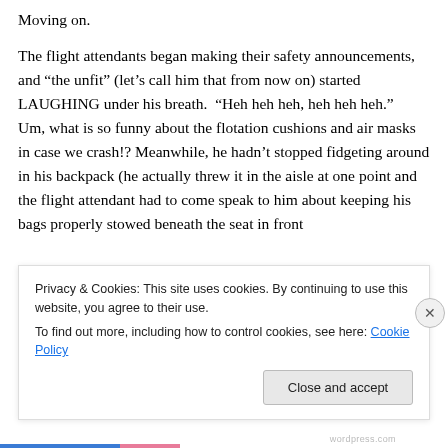Moving on.
The flight attendants began making their safety announcements, and “the unfit” (let’s call him that from now on) started LAUGHING under his breath.  “Heh heh heh, heh heh heh.”   Um, what is so funny about the flotation cushions and air masks in case we crash!?  Meanwhile, he hadn’t stopped fidgeting around in his backpack (he actually threw it in the aisle at one point and the flight attendant had to come speak to him about keeping his bags properly stowed beneath the seat in front of him) and he also started sneezing for days. During
Privacy & Cookies: This site uses cookies. By continuing to use this website, you agree to their use.
To find out more, including how to control cookies, see here: Cookie Policy
Close and accept